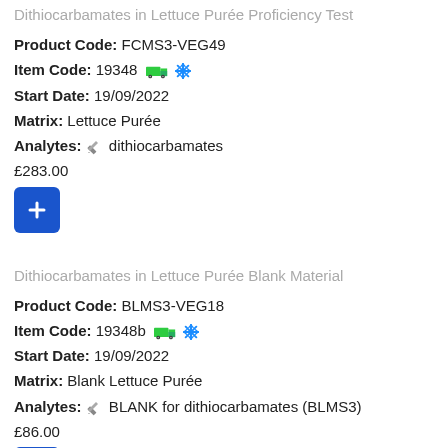Dithiocarbamates in Lettuce Purée Proficiency Test
Product Code: FCMS3-VEG49
Item Code: 19348 [truck icon] [snowflake icon]
Start Date: 19/09/2022
Matrix: Lettuce Purée
Analytes: [pencil icon] dithiocarbamates
£283.00
Dithiocarbamates in Lettuce Purée Blank Material
Product Code: BLMS3-VEG18
Item Code: 19348b [truck icon] [snowflake icon]
Start Date: 19/09/2022
Matrix: Blank Lettuce Purée
Analytes: [pencil icon] BLANK for dithiocarbamates (BLMS3)
£86.00